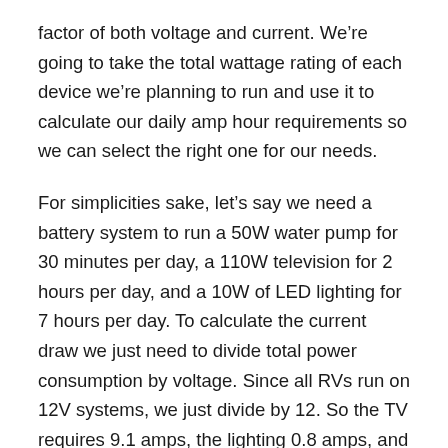factor of both voltage and current. We're going to take the total wattage rating of each device we're planning to run and use it to calculate our daily amp hour requirements so we can select the right one for our needs.
For simplicities sake, let's say we need a battery system to run a 50W water pump for 30 minutes per day, a 110W television for 2 hours per day, and a 10W of LED lighting for 7 hours per day. To calculate the current draw we just need to divide total power consumption by voltage. Since all RVs run on 12V systems, we just divide by 12. So the TV requires 9.1 amps, the lighting 0.8 amps, and the pump 4.1 amps.